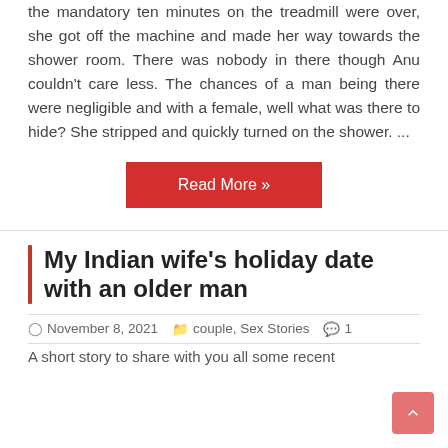the mandatory ten minutes on the treadmill were over, she got off the machine and made her way towards the shower room. There was nobody in there though Anu couldn't care less. The chances of a man being there were negligible and with a female, well what was there to hide? She stripped and quickly turned on the shower. ...
Read More »
My Indian wife's holiday date with an older man
November 8, 2021   couple, Sex Stories   1
A short story to share with you all some recent